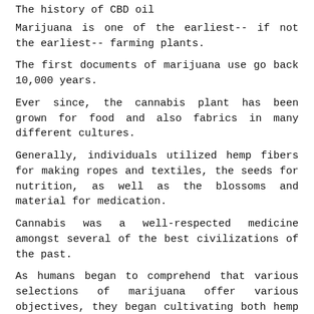The history of CBD oil
Marijuana is one of the earliest-- if not the earliest-- farming plants.
The first documents of marijuana use go back 10,000 years.
Ever since, the cannabis plant has been grown for food and also fabrics in many different cultures.
Generally, individuals utilized hemp fibers for making ropes and textiles, the seeds for nutrition, as well as the blossoms and material for medication.
Cannabis was a well-respected medicine amongst several of the best civilizations of the past.
As humans began to comprehend that various selections of marijuana offer various objectives, they began cultivating both hemp as well as marijuana.
Hemp plants have a tendency to grow tall, slim, and